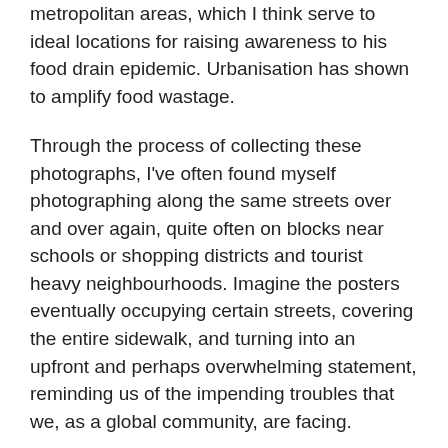metropolitan areas, which I think serve to ideal locations for raising awareness to his food drain epidemic. Urbanisation has shown to amplify food wastage.
Through the process of collecting these photographs, I've often found myself photographing along the same streets over and over again, quite often on blocks near schools or shopping districts and tourist heavy neighbourhoods. Imagine the posters eventually occupying certain streets, covering the entire sidewalk, and turning into an upfront and perhaps overwhelming statement, reminding us of the impending troubles that we, as a global community, are facing.
Incorporating and infiltrating the cityscape, these set of posters melt into the environment as well as play the environment as an extension, a prosthesis of itself- be the people, the audience, the changing light from the sun, the cars driving by, the soundscape....
Further, re...